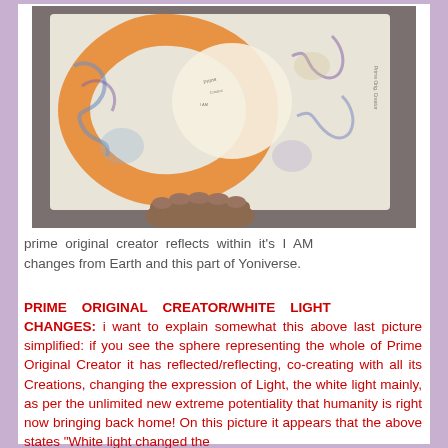[Figure (photo): A hand holding an open book or large paper with colorful spiral/circular artwork drawn in colored pencil or watercolor — featuring an orange crescent/C-shape, blue and purple swirls, a white central circle, and handwritten text throughout the drawing.]
prime original creator reflects within it's I AM changes from Earth and this part of Yoniverse.
PRIME ORIGINAL CREATOR/WHITE LIGHT CHANGES: i want to explain somewhat this above last picture simplified: if you see the sphere representing the whole of Prime Original Creator it has reflected/reflecting, co-creating with all its Creations, changing the expression of Light, the white light mainly, as per the unlimited new extreme potentiality that humanity is right now bringing back home! On this picture it appears that the above states "White light changed the